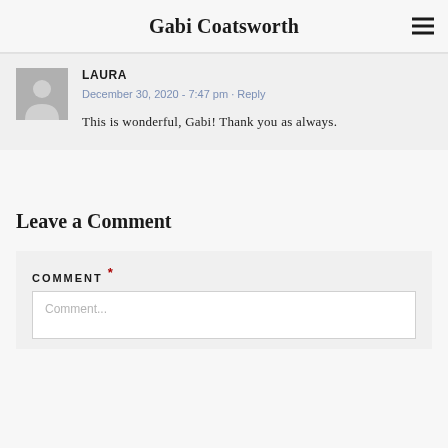Gabi Coatsworth
LAURA
December 30, 2020 - 7:47 pm · Reply
This is wonderful, Gabi! Thank you as always.
Leave a Comment
COMMENT *
Comment...